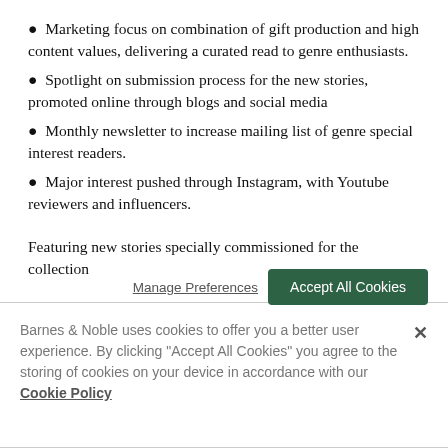Marketing focus on combination of gift production and high content values, delivering a curated read to genre enthusiasts.
Spotlight on submission process for the new stories, promoted online through blogs and social media
Monthly newsletter to increase mailing list of genre special interest readers.
Major interest pushed through Instagram, with Youtube reviewers and influencers.
Featuring new stories specially commissioned for the collection
Barnes & Noble uses cookies to offer you a better user experience. By clicking "Accept All Cookies" you agree to the storing of cookies on your device in accordance with our Cookie Policy
Manage Preferences
Accept All Cookies